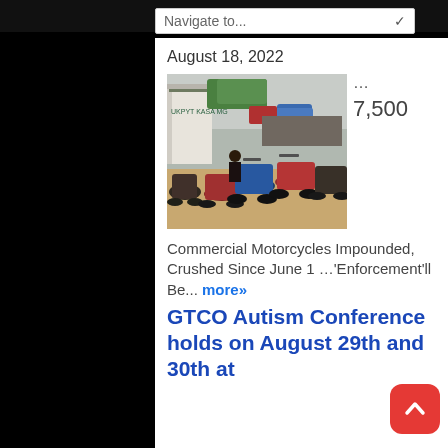Navigate to...
August 18, 2022
[Figure (photo): Many commercial motorcycles (okadas) parked tightly together in a lot, with a large truck and market area visible in the background. A man is visible near the motorcycles.]
... 7,500
Commercial Motorcycles Impounded, Crushed Since June 1 …'Enforcement'll Be... more»
GTCO Autism Conference holds on August 29th and 30th at